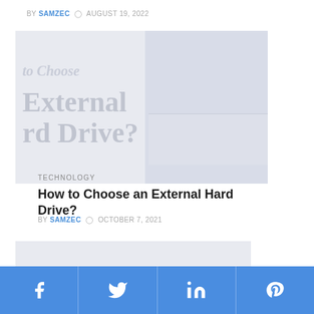BY SAMZEC  ⊙  AUGUST 19, 2022
[Figure (photo): Blurred/faded hero image showing text overlay reading 'to Choose External Hard Drive?' with a faint laptop/device image on the right side]
TECHNOLOGY
How to Choose an External Hard Drive?
BY SAMZEC  ⊙  OCTOBER 7, 2021
[Figure (photo): Light gray placeholder card/image]
[Figure (infographic): Social share bar with Facebook, Twitter, LinkedIn, and Pinterest icons on blue background]